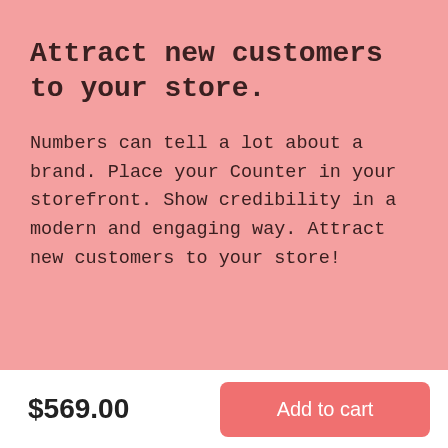Attract new customers to your store.
Numbers can tell a lot about a brand. Place your Counter in your storefront. Show credibility in a modern and engaging way. Attract new customers to your store!
$569.00
Add to cart